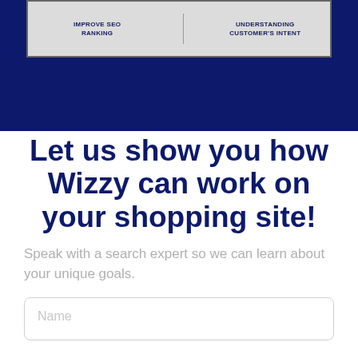[Figure (screenshot): Top dark blue banner with a framed infographic image showing two labeled sections: 'IMPROVE SEO RANKING' and 'UNDERSTANDING CUSTOMER'S INTENT', with decorative background illustrations]
Let us show you how Wizzy can work on your shopping site!
Speak with a search expert so we can learn about your unique goals.
Name